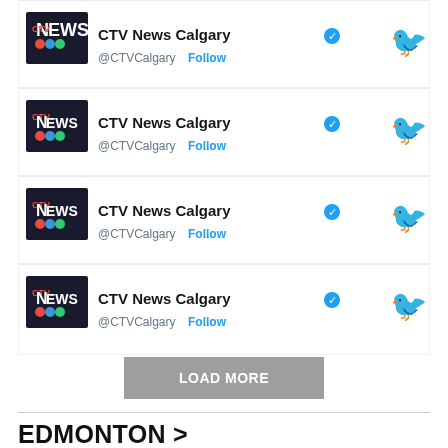[Figure (screenshot): Twitter/X follow panel showing four CTV News Calgary account rows, each with the CTV News logo, account name with blue verified badge, @CTVCalgary handle with Follow link, and Twitter bird icon. Below the rows is a LOAD MORE button.]
EDMONTON >
[Figure (photo): Black and white portrait photo of a person, cropped showing head and upper body, partially visible.]